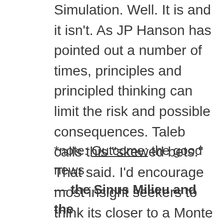Simulation. Well. It is and it isn't. As JP Hanson has pointed out a number of times, principles and principled thinking can limit the risk and possible consequences. Taleb calls this "skewed bets." That said. I'd encourage most insight seekers to think its closer to a Monte Carlo Simulation than a 'done deal' locked in outcome*.
*note: Outcome: the good news — the Sinus Milieu and the